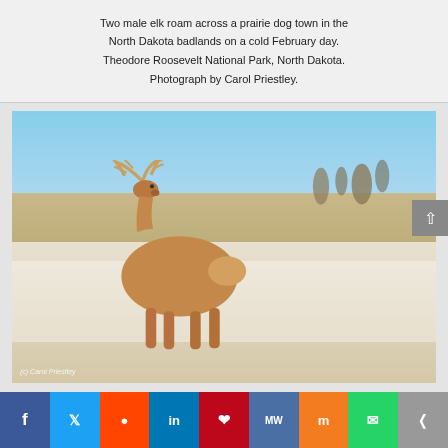Two male elk roam across a prairie dog town in the North Dakota badlands on a cold February day. Theodore Roosevelt National Park, North Dakota. Photograph by Carol Priestley.
[Figure (photo): A male elk with large antlers walking across a snowy winter landscape with dry grass, blue sky, and hills. Watermark reads (c) Carol Priestley.]
Social share buttons: Facebook, Twitter, Reddit, LinkedIn, Pinterest, MeWe, Mix, WhatsApp, Share